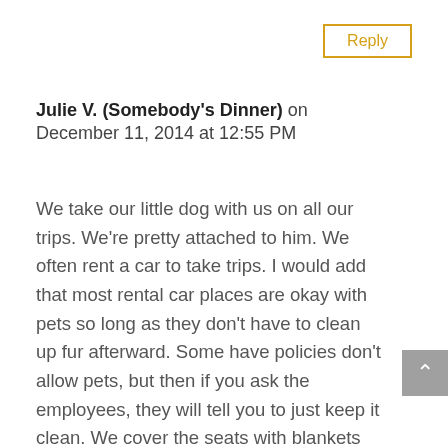Reply
Julie V. (Somebody's Dinner) on December 11, 2014 at 12:55 PM
We take our little dog with us on all our trips. We're pretty attached to him. We often rent a car to take trips. I would add that most rental car places are okay with pets so long as they don't have to clean up fur afterward. Some have policies don't allow pets, but then if you ask the employees, they will tell you to just keep it clean. We cover the seats with blankets and then before we return the rental car, I vacuum and use a lint roller to get ALL the fur. I would keep in